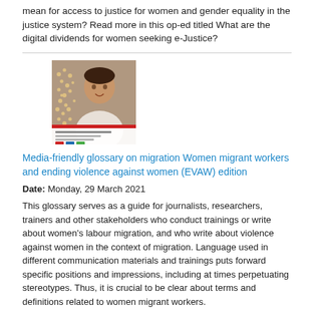mean for access to justice for women and gender equality in the justice system? Read more in this op-ed titled What are the digital dividends for women seeking e-Justice?
[Figure (photo): Cover image of a publication showing a woman's portrait with a decorative dot pattern background, with publication title text at the bottom.]
Media-friendly glossary on migration Women migrant workers and ending violence against women (EVAW) edition
Date: Monday, 29 March 2021
This glossary serves as a guide for journalists, researchers, trainers and other stakeholders who conduct trainings or write about women's labour migration, and who write about violence against women in the context of migration. Language used in different communication materials and trainings puts forward specific positions and impressions, including at times perpetuating stereotypes. Thus, it is crucial to be clear about terms and definitions related to women migrant workers.